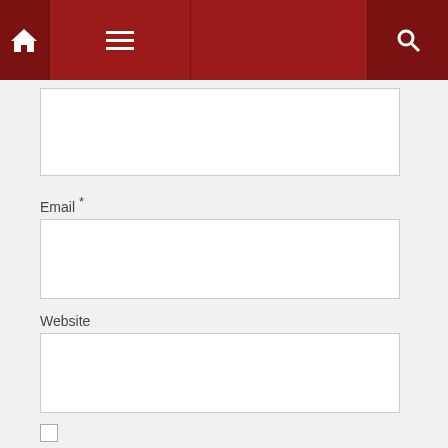[Figure (screenshot): Red navigation bar with home icon, hamburger menu icon, and search icon]
[Figure (screenshot): Empty text input box (top, partially visible)]
Email *
[Figure (screenshot): Empty email input box]
Website
[Figure (screenshot): Empty website input box]
Notify me of follow-up comments by email.
Notify me of new posts by email.
POST COMMENT